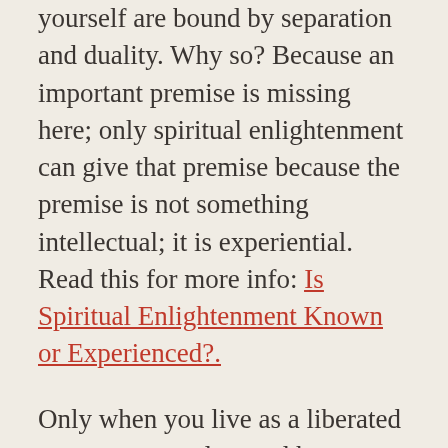yourself are bound by separation and duality. Why so? Because an important premise is missing here; only spiritual enlightenment can give that premise because the premise is not something intellectual; it is experiential. Read this for more info: Is Spiritual Enlightenment Known or Experienced?.
Only when you live as a liberated person, you understand how an enlightened person perceives the reality. This understanding is the premise you need to logically talk about that unaltered, unclouded, impersonal, unified, authentic non-dual experience of reality that lacks a sense of separation, sense of psychological time, sense of psychological lack and a self concept. Here, the problem is not